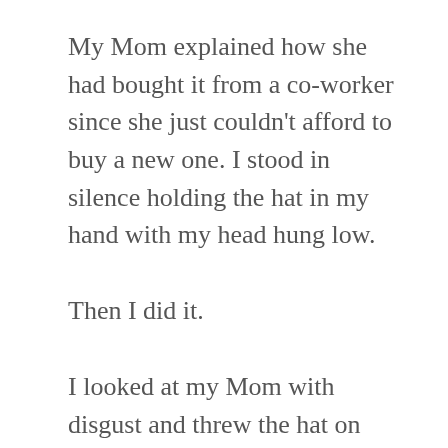My Mom explained how she had bought it from a co-worker since she just couldn't afford to buy a new one. I stood in silence holding the hat in my hand with my head hung low.
Then I did it.
I looked at my Mom with disgust and threw the hat on the ground and ran for my room. I was in total disbelief that my dream of being a real cowboy would not happen on this particular day.
Truly Blessed
Eventually I got over it and came to realize how